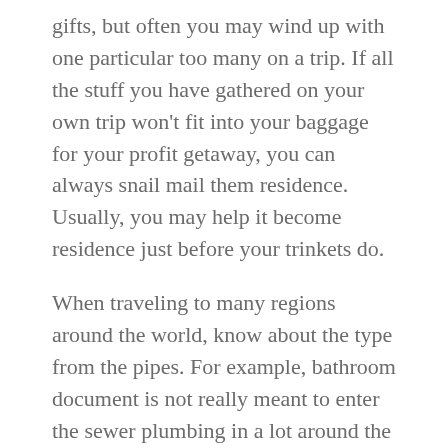gifts, but often you may wind up with one particular too many on a trip. If all the stuff you have gathered on your own trip won't fit into your baggage for your profit getaway, you can always snail mail them residence. Usually, you may help it become residence just before your trinkets do.
When traveling to many regions around the world, know about the type from the pipes. For example, bathroom document is not really meant to enter the sewer plumbing in a lot around the globe. As an alternative, you will find a small basket next to the potty to support the document.
When arranging a journey, don't matter on one booking web site to show you the smallest fares. Make a price comparison throughout many different internet sites, including meta-visitors provided you can see them. Also